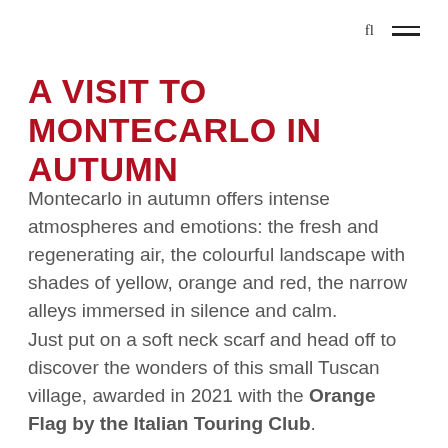fl ≡
A VISIT TO MONTECARLO IN AUTUMN
Montecarlo in autumn offers intense atmospheres and emotions: the fresh and regenerating air, the colourful landscape with shades of yellow, orange and red, the narrow alleys immersed in silence and calm.
Just put on a soft neck scarf and head off to discover the wonders of this small Tuscan village, awarded in 2021 with the Orange Flag by the Italian Touring Club.